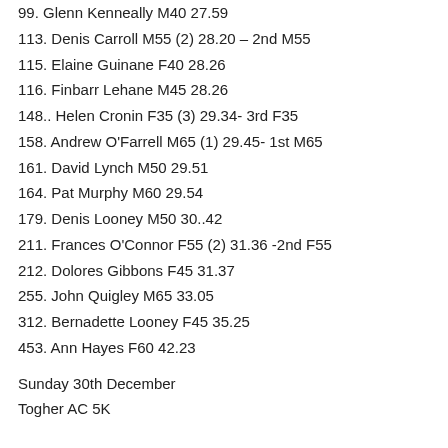99. Glenn Kenneally M40 27.59
113. Denis Carroll M55 (2) 28.20 – 2nd M55
115. Elaine Guinane F40 28.26
116. Finbarr Lehane M45 28.26
148.. Helen Cronin F35 (3) 29.34- 3rd F35
158. Andrew O'Farrell M65 (1) 29.45- 1st M65
161. David Lynch M50 29.51
164. Pat Murphy M60 29.54
179. Denis Looney M50 30..42
211. Frances O'Connor F55 (2) 31.36 -2nd F55
212. Dolores Gibbons F45 31.37
255. John Quigley M65 33.05
312. Bernadette Looney F45 35.25
453. Ann Hayes F60 42.23
Sunday 30th December
Togher AC 5K